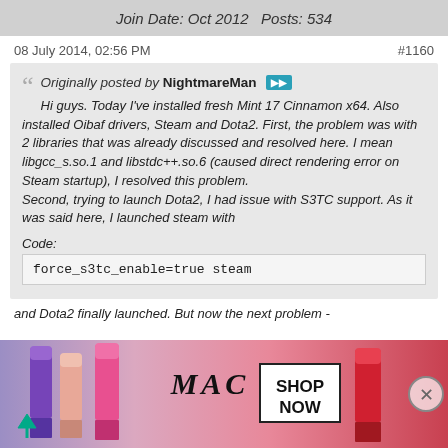Join Date: Oct 2012   Posts: 534
08 July 2014, 02:56 PM   #1160
Originally posted by NightmareMan
Hi guys. Today I've installed fresh Mint 17 Cinnamon x64. Also installed Oibaf drivers, Steam and Dota2. First, the problem was with 2 libraries that was already discussed and resolved here. I mean libgcc_s.so.1 and libstdc++.so.6 (caused direct rendering error on Steam startup), I resolved this problem.
Second, trying to launch Dota2, I had issue with S3TC support. As it was said here, I launched steam with
Code:
force_s3tc_enable=true steam
and Dota2 finally launched. But now the next problem -
[Figure (photo): MAC cosmetics advertisement showing lipsticks with SHOP NOW button]